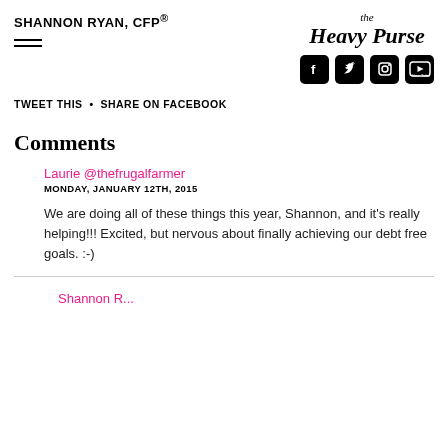SHANNON RYAN, CFP®
[Figure (logo): The Heavy Purse logo with social media icons for Facebook, Twitter, Instagram, and YouTube]
TWEET THIS  •  SHARE ON FACEBOOK
Comments
Laurie @thefrugalfarmer
MONDAY, JANUARY 12TH, 2015
We are doing all of these things this year, Shannon, and it's really helping!!! Excited, but nervous about finally achieving our debt free goals. :-)
Shannon R...